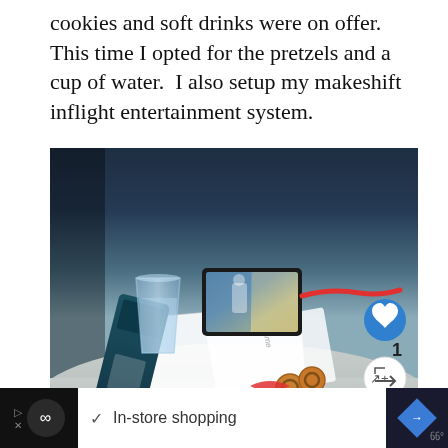cookies and soft drinks were on offer.  This time I opted for the pretzels and a cup of water.  I also setup my makeshift inflight entertainment system.
[Figure (photo): Photo of an airplane tray table with a cup of water, a smartphone showing a video (landscape), a red charging cable, a dark-colored pretzel bag, a white napkin, and pretzels scattered on the napkin. Overlaid UI elements include a blue heart button (like), a like count of 1, a share button, and a 'What's Next' preview for 'Washington - Jeffsetter...']
In-store shopping